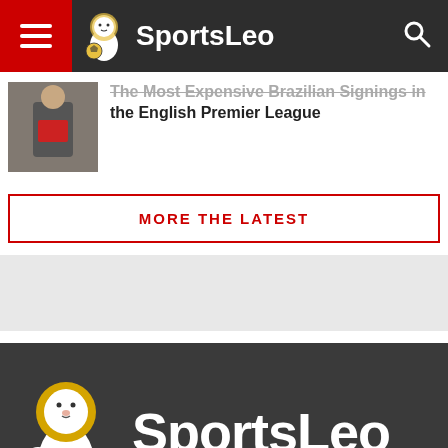SportsLeo
The Most Expensive Brazilian Signings in the English Premier League
MORE THE LATEST
[Figure (logo): SportsLeo logo with lion mascot holding a football, white text on dark grey background]